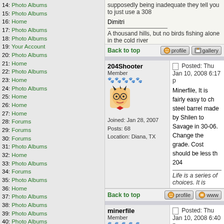14: Photo Albums
15: Photo Albums
16: Home
17: Photo Albums
18: Photo Albums
19: Your Account
20: Photo Albums
21: Home
22: Photo Albums
23: Home
24: Photo Albums
25: Home
26: Home
27: Home
28: Forums
29: Forums
30: Forums
31: Photo Albums
32: Home
33: Photo Albums
34: Forums
35: Photo Albums
36: Home
37: Photo Albums
38: Photo Albums
39: Photo Albums
40: Photo Albums
41: Home
42: Home
43: Forums
BOT:
01: Forums
Staff Online:
No staff members are online!
Coppermine Stats
Photo Albums
Back to top
204Shooter
Member
Joined: Jan 28, 2007
Posts: 68
Location: Diana, TX
Posted: Thu Jan 10, 2008 6:17 p
Minerfile, It is fairly easy to ch steel barrel made by Shilen to Savage in 30-06. Change the grade. Cost should be less th 204
Life is a series of choices. It is
Back to top
minerfile
Member
Posted: Thu Jan 10, 2008 6:40 p
Just came back from the gun overlooked them ealrier. We'll